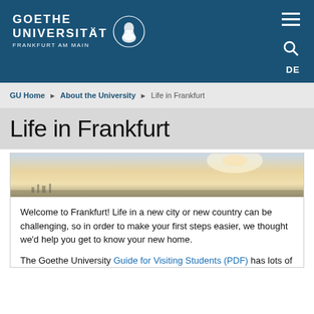GOETHE UNIVERSITÄT FRANKFURT AM MAIN
GU Home ▶ About the University ▶ Life in Frankfurt
Life in Frankfurt
[Figure (photo): Skyline or landscape photo of Frankfurt, partially visible at top of content card]
Welcome to Frankfurt! Life in a new city or new country can be challenging, so in order to make your first steps easier, we thought we'd help you get to know your new home.
The Goethe University Guide for Visiting Students (PDF) has lots of